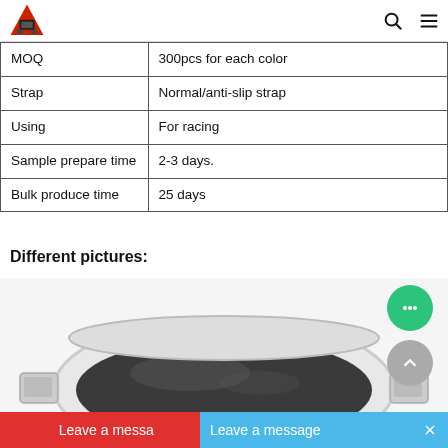Logo and navigation icons (search, menu)
| MOQ | 300pcs for each color |
| Strap | Normal/anti-slip strap |
| Using | For racing |
| Sample prepare time | 2-3 days. |
| Bulk produce time | 25 days |
Different pictures:
[Figure (photo): Close-up of a white racing goggle/helmet with dark visor, photographed from above]
[Figure (other): Leave a message chat widget overlay with blue and red bars at bottom of page]